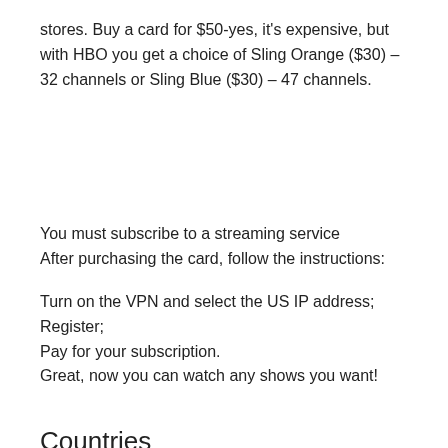stores. Buy a card for $50-yes, it's expensive, but with HBO you get a choice of Sling Orange ($30) – 32 channels or Sling Blue ($30) – 47 channels.
You must subscribe to a streaming service
After purchasing the card, follow the instructions:
Turn on the VPN and select the US IP address;
Register;
Pay for your subscription.
Great, now you can watch any shows you want!
Countries